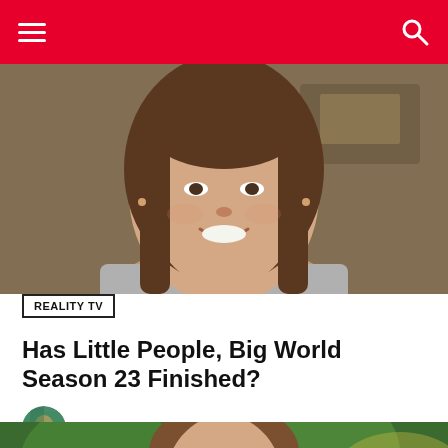Navigation bar with hamburger menu and search icon
[Figure (photo): Close-up photo of a smiling woman with long brown hair, wearing a gray top, indoors with blurred background]
REALITY TV
Has Little People, Big World Season 23 Finished?
by Meghan Mentell  27 days ago
[Figure (photo): Photo of a woman with brown hair, outdoors with green foliage background, looking slightly to the side]